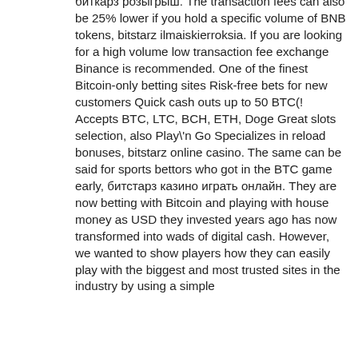биткарз розыгрыш. The transaction fees can also be 25% lower if you hold a specific volume of BNB tokens, bitstarz ilmaiskierroksia. If you are looking for a high volume low transaction fee exchange Binance is recommended. One of the finest Bitcoin-only betting sites Risk-free bets for new customers Quick cash outs up to 50 BTC(! Accepts BTC, LTC, BCH, ETH, Doge Great slots selection, also Play'n Go Specializes in reload bonuses, bitstarz online casino. The same can be said for sports bettors who got in the BTC game early, битстарз казино играть онлайн. They are now betting with Bitcoin and playing with house money as USD they invested years ago has now transformed into wads of digital cash. However, we wanted to show players how they can easily play with the biggest and most trusted sites in the industry by using a simple